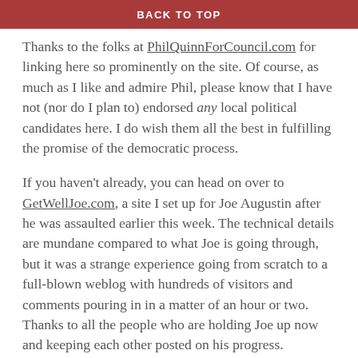BACK TO TOP
Thanks to the folks at PhilQuinnForCouncil.com for linking here so prominently on the site. Of course, as much as I like and admire Phil, please know that I have not (nor do I plan to) endorsed any local political candidates here. I do wish them all the best in fulfilling the promise of the democratic process.
If you haven't already, you can head on over to GetWellJoe.com, a site I set up for Joe Augustin after he was assaulted earlier this week. The technical details are mundane compared to what Joe is going through, but it was a strange experience going from scratch to a full-blown weblog with hundreds of visitors and comments pouring in in a matter of an hour or two. Thanks to all the people who are holding Joe up now and keeping each other posted on his progress.
In a little bit, I've been meaning to tell East to share with the...